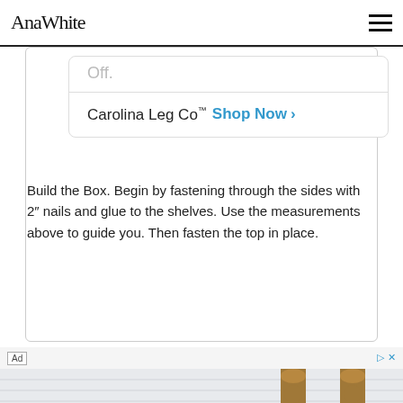AnaWhite
Off.
Carolina Leg Co™ Shop Now >
Build the Box. Begin by fastening through the sides with 2" nails and glue to the shelves. Use the measurements above to guide you. Then fasten the top in place.
[Figure (photo): Advertisement photo showing a rustic wooden table with two small orange pumpkins on top, against a white shiplap background. Two turned wood table legs visible on the right side. Lower portion has a reflection on white surface. Ad label in top-left corner with play and close buttons in top-right.]